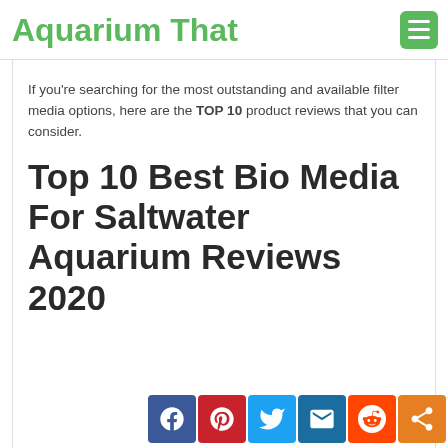Aquarium That
If you're searching for the most outstanding and available filter media options, here are the TOP 10 product reviews that you can consider.
Top 10 Best Bio Media For Saltwater Aquarium Reviews 2020